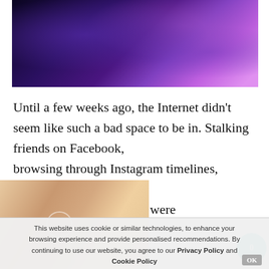[Figure (photo): Person in dark clothing at a computer/DJ setup with purple and blue lighting]
Until a few weeks ago, the Internet didn't seem like such a bad space to be in. Stalking friends on Facebook, browsing through Instagram timelines, reading lousy paranormal reality shows were ng indulgences this writer to. This was all before
[Figure (photo): Close-up of a baby's feet on a light surface]
This website uses cookie or similar technologies, to enhance your browsing experience and provide personalised recommendations. By continuing to use our website, you agree to our Privacy Policy and Cookie Policy